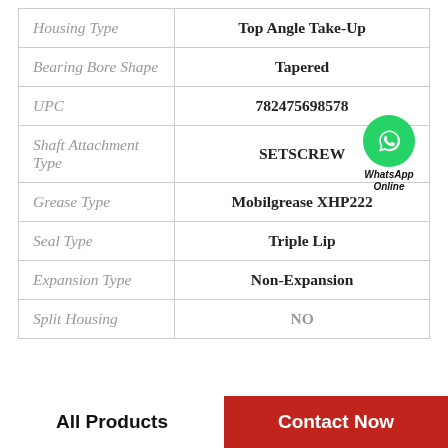| Property | Value |
| --- | --- |
| Housing Type | Top Angle Take-Up |
| Bearing Bore Shape | Tapered |
| UPC | 782475698578 |
| Shaft Attachment Type | SETSCREW |
| Grease Type | Mobilgrease XHP222 |
| Seal Type | Triple Lip |
| Expansion Type | Non-Expansion |
| Split Housing | NO |
All Products   Contact Now